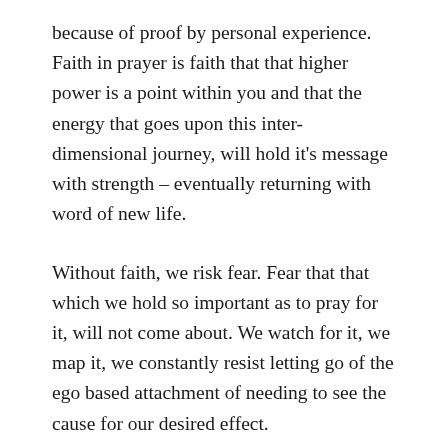because of proof by personal experience. Faith in prayer is faith that that higher power is a point within you and that the energy that goes upon this inter-dimensional journey, will hold it's message with strength – eventually returning with word of new life.
Without faith, we risk fear. Fear that that which we hold so important as to pray for it, will not come about. We watch for it, we map it, we constantly resist letting go of the ego based attachment of needing to see the cause for our desired effect.
Yet as soon as we attempt to control the cause, the observation from our physical body's relative eyes – that see with the fear of failure – collapses those waves of probability from harmonizing to the whale's song of your